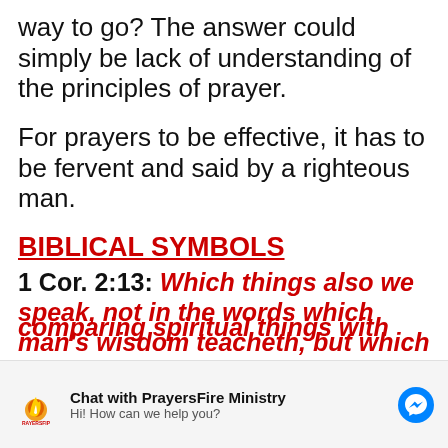way to go? The answer could simply be lack of understanding of the principles of prayer.
For prayers to be effective, it has to be fervent and said by a righteous man.
BIBLICAL SYMBOLS
1 Cor. 2:13: Which things also we speak, not in the words which man's wisdom teacheth, but which
[Figure (other): PrayersFire Ministry chat widget with logo, 'Chat with PrayersFire Ministry' text, 'Hi! How can we help you?' subtitle, and Messenger icon]
comparing spiritual things with